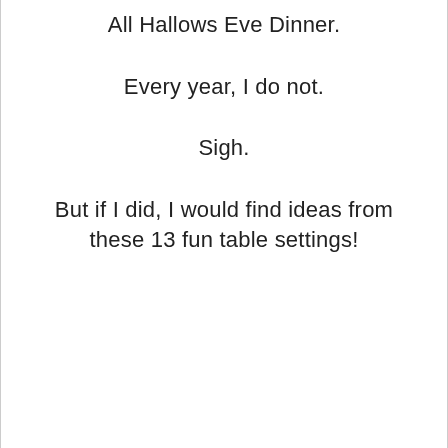All Hallows Eve Dinner.
Every year, I do not.
Sigh.
But if I did, I would find ideas from these 13 fun table settings!